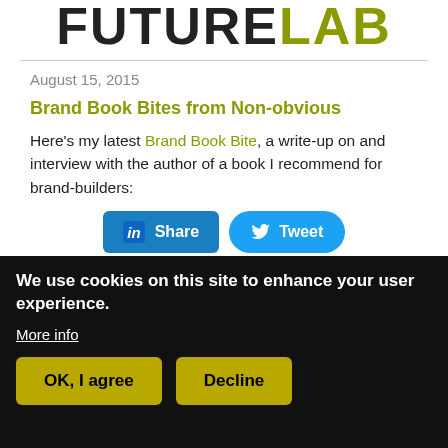[Figure (logo): FutureLab logo with FUTURE in dark/black and LAB in olive/gold color]
August 15, 2015
Brand Book Bites from Non-obvious
Here's my latest Brand Book Bite, a write-up on and interview with the author of a book I recommend for brand-builders:
[Figure (other): Social sharing buttons: LinkedIn Share and Twitter Tweet]
Continue Reading →
We use cookies on this site to enhance your user experience.
More info
OK, I agree   Decline